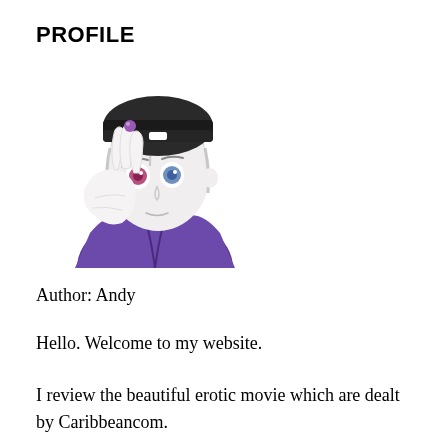PROFILE
[Figure (illustration): Anime-style character illustration: a person with white/silver hair wearing a black beanie hat and purple hoodie, holding up one hand near their face showing mismatched eyes (one pink/red, one blue).]
Author: Andy
Hello. Welcome to my website.
I review the beautiful erotic movie which are dealt by Caribbeancom.